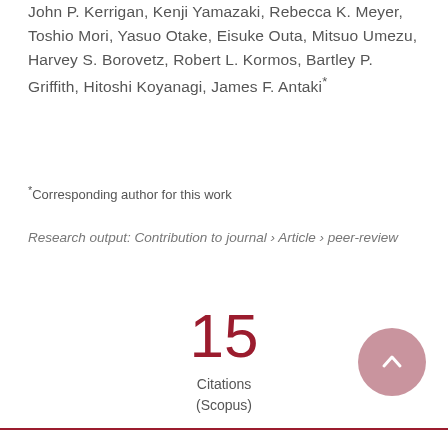John P. Kerrigan, Kenji Yamazaki, Rebecca K. Meyer, Toshio Mori, Yasuo Otake, Eisuke Outa, Mitsuo Umezu, Harvey S. Borovetz, Robert L. Kormos, Bartley P. Griffith, Hitoshi Koyanagi, James F. Antaki*
*Corresponding author for this work
Research output: Contribution to journal › Article › peer-review
15
Citations (Scopus)